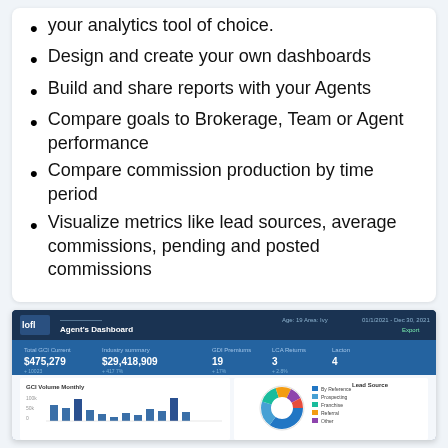your analytics tool of choice.
Design and create your own dashboards
Build and share reports with your Agents
Compare goals to Brokerage, Team or Agent performance
Compare commission production by time period
Visualize metrics like lead sources, average commissions, pending and posted commissions
[Figure (screenshot): Agent's Dashboard screenshot showing lofl branding, metrics including Total GCI Current $475,279, Industry summary $29,418,909, GDI Premiums 19, LCA Returns 3, Lacton 4, and a bar chart labeled GCI Volume Monthly and a donut chart labeled Lead Source with legend.]